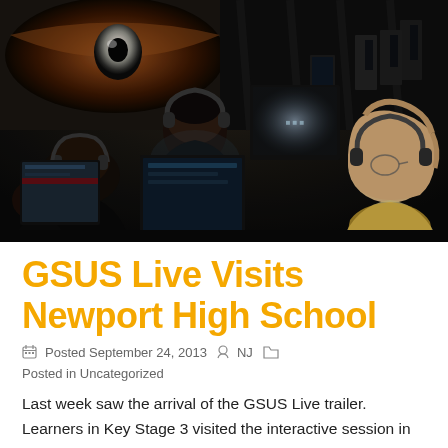[Figure (photo): Students wearing headphones seated at computers in a darkened room with a large eye projection displayed on the back wall — the GSUS Live interactive trailer.]
GSUS Live Visits Newport High School
Posted September 24, 2013   NJ   Posted in Uncategorized
Last week saw the arrival of the GSUS Live trailer. Learners in Key Stage 3 visited the interactive session in their RE